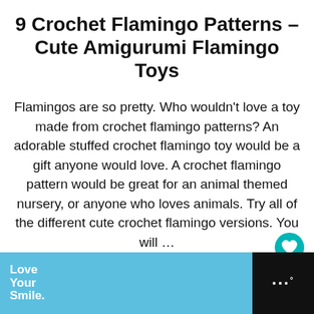9 Crochet Flamingo Patterns – Cute Amigurumi Flamingo Toys
Flamingos are so pretty. Who wouldn't love a toy made from crochet flamingo patterns? An adorable stuffed crochet flamingo toy would be a gift anyone would love. A crochet flamingo pattern would be great for an animal themed nursery, or anyone who loves animals. Try all of the different cute crochet flamingo versions. You will …
[Figure (other): Teal heart/bookmark button icon in bottom right of content area]
[Figure (other): Advertisement banner at bottom: blue background with 'Love Your Smile.' text, dental design icon, #HelpByDesign hashtag, close button, and dark right panel with logo dots]
Love Your Smile. #HelpByDesign